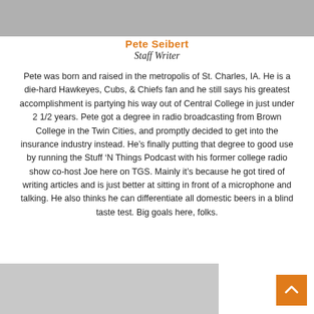[Figure (photo): Top portion of a black and white photo of Pete Seibert]
Pete Seibert
Staff Writer
Pete was born and raised in the metropolis of St. Charles, IA. He is a die-hard Hawkeyes, Cubs, & Chiefs fan and he still says his greatest accomplishment is partying his way out of Central College in just under 2 1/2 years. Pete got a degree in radio broadcasting from Brown College in the Twin Cities, and promptly decided to get into the insurance industry instead. He’s finally putting that degree to good use by running the Stuff ‘N Things Podcast with his former college radio show co-host Joe here on TGS. Mainly it’s because he got tired of writing articles and is just better at sitting in front of a microphone and talking. He also thinks he can differentiate all domestic beers in a blind taste test. Big goals here, folks.
[Figure (photo): Bottom portion of a photo, partially visible at the bottom of the page]
[Figure (other): Orange back-to-top button with upward arrow chevron]